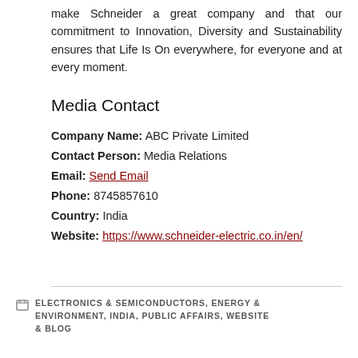make Schneider a great company and that our commitment to Innovation, Diversity and Sustainability ensures that Life Is On everywhere, for everyone and at every moment.
Media Contact
Company Name: ABC Private Limited
Contact Person: Media Relations
Email: Send Email
Phone: 8745857610
Country: India
Website: https://www.schneider-electric.co.in/en/
ELECTRONICS & SEMICONDUCTORS, ENERGY & ENVIRONMENT, INDIA, PUBLIC AFFAIRS, WEBSITE & BLOG